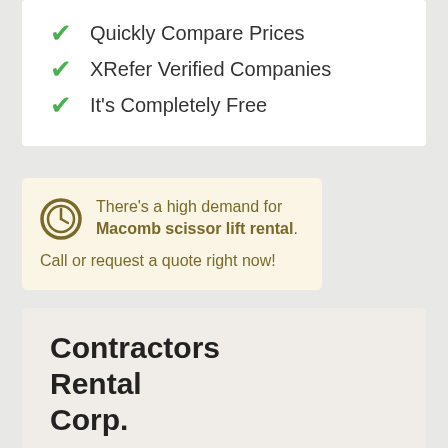Quickly Compare Prices
XRefer Verified Companies
It's Completely Free
There's a high demand for Macomb scissor lift rental. Call or request a quote right now!
Contractors Rental Corp.
Serving: New Baltimore, Utica, Columbus, Harsens Island and throughout Macomb.